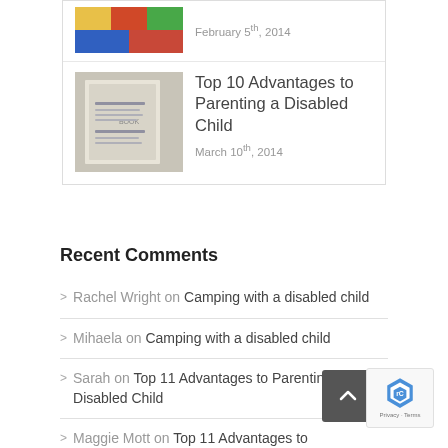[Figure (photo): Thumbnail image of colorful toys/art supplies]
February 5th, 2014
[Figure (photo): Thumbnail image of a book/document]
Top 10 Advantages to Parenting a Disabled Child
March 10th, 2014
Recent Comments
Rachel Wright on Camping with a disabled child
Mihaela on Camping with a disabled child
Sarah on Top 11 Advantages to Parenting a Disabled Child
Maggie Mott on Top 11 Advantages to